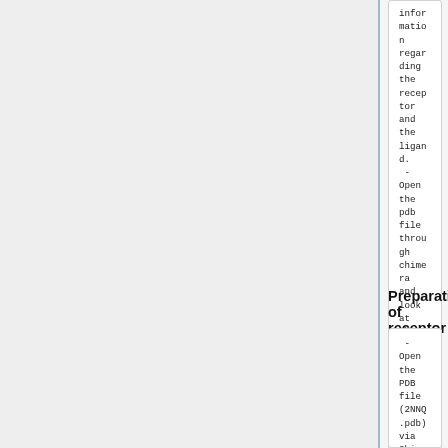information regarding the receptor and the ligand.
 - Open the pdb file through chimera and look at the structure. Identify the main components of the model (receptor, ligand, solvent, surfactants, metal ions)
 - Carefully look to identify if there are any missing residues or missing loops. (This particular PDB file didn't contain any missing loops or missing residues)
Preparation of receptor
- Open the PDB file (2NNQ.pdb) via Chimera
 - Isolate the receptor using select tool and